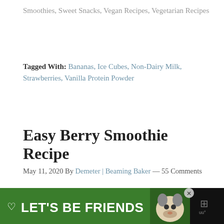Smoothies, Sweet Snacks, Vegan Recipes, Vegetarian Recipes
Tagged With: Bananas, Ice Cubes, Non-Dairy Milk, Strawberries, Vanilla Protein Powder
Easy Berry Smoothie Recipe
May 11, 2020 By Demeter | Beaming Baker — 55 Comments
[Figure (photo): A glass of pink/purple berry smoothie topped with raspberries and blueberries, with strawberries in a bowl in the background and another smoothie glass visible]
[Figure (infographic): Ad banner: green background with heart icon and text 'LET'S BE FRIENDS' with a husky dog image, close button, and sound icon]